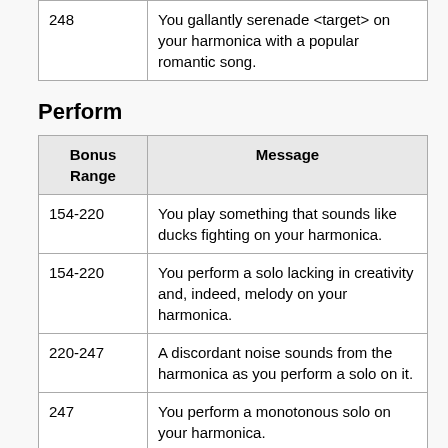| Bonus Range | Message |
| --- | --- |
| 248 | You gallantly serenade <target> on your harmonica with a popular romantic song. |
Perform
| Bonus Range | Message |
| --- | --- |
| 154-220 | You play something that sounds like ducks fighting on your harmonica. |
| 154-220 | You perform a solo lacking in creativity and, indeed, melody on your harmonica. |
| 220-247 | A discordant noise sounds from the harmonica as you perform a solo on it. |
| 247 | You perform a monotonous solo on your harmonica. |
| 227-247 | You perform a simple solo on your harmonica. |